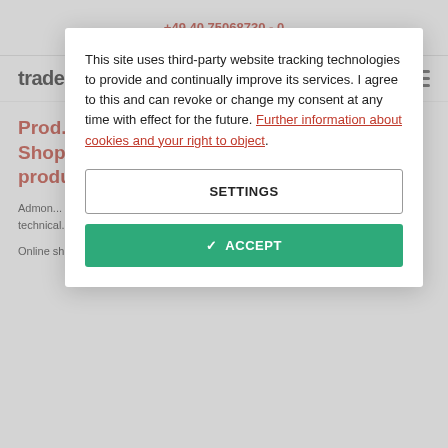+49 40 75068730 - 0
Prod... Shop... produ...
This site uses third-party website tracking technologies to provide and continually improve its services. I agree to this and can revoke or change my consent at any time with effect for the future. Further information about cookies and your right to object.
SETTINGS
✓  ACCEPT
Admon... authorit... operator... addition... copyright... Data Protection... technical... increasingly emerging...
Online shop operators should take care not to how an...